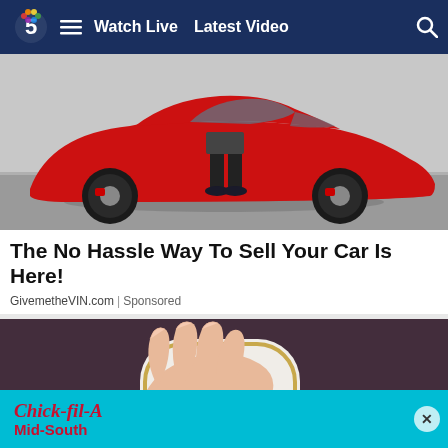Watch Live  Latest Video
[Figure (photo): Red Porsche sports car parked outdoors, person standing beside it (legs visible), shot from the side on a paved surface.]
The No Hassle Way To Sell Your Car Is Here!
GivemetheVIN.com | Sponsored
[Figure (photo): Close-up of a hand holding a small white and gold rounded square-shaped device, possibly a GPS tracker or smart tag, with a ring visible on the finger.]
[Figure (screenshot): Chick-fil-A Mid-South advertisement banner in cyan/teal background with the Chick-fil-A logo and text 'Mid-South'.]